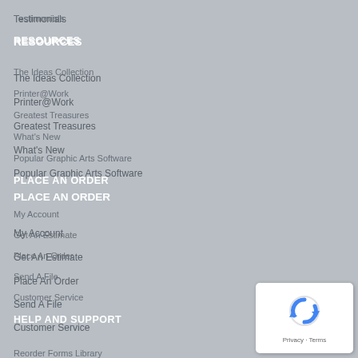Testimonials
RESOURCES
The Ideas Collection
Printer@Work
Greatest Treasures
What's New
Popular Graphic Arts Software
PLACE AN ORDER
My Account
Get An Estimate
Place An Order
Send A File
Customer Service
HELP AND SUPPORT
Reorder Forms Library
Online Proofing
[Figure (logo): reCAPTCHA privacy badge with blue arrow icon, Privacy and Terms text]